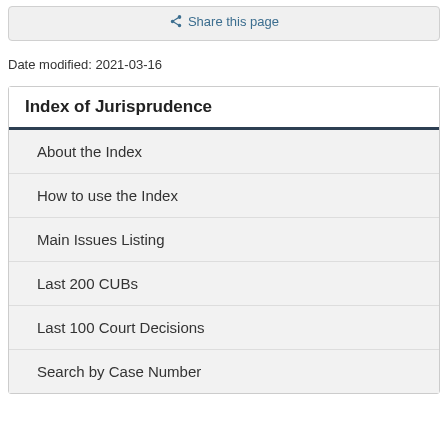Share this page
Date modified: 2021-03-16
Index of Jurisprudence
About the Index
How to use the Index
Main Issues Listing
Last 200 CUBs
Last 100 Court Decisions
Search by Case Number